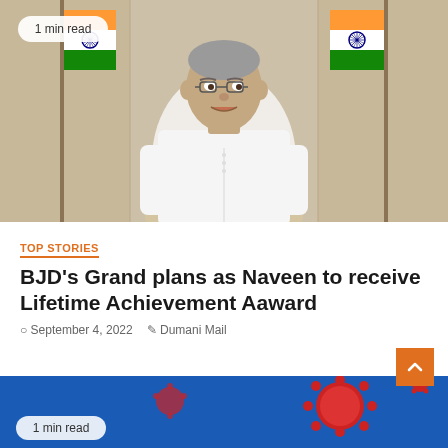[Figure (photo): Photo of an elderly Indian politician in white kurta seated and speaking, with two Indian national flags in the background. A '1 min read' badge overlaid in top-left corner.]
TOP STORIES
BJD's Grand plans as Naveen to receive Lifetime Achievement Aaward
September 4, 2022   Dumani Mail
[Figure (photo): Partial view of a blue background image with red virus/spike ball illustrations. A '1 min read' badge overlaid in bottom-left corner.]